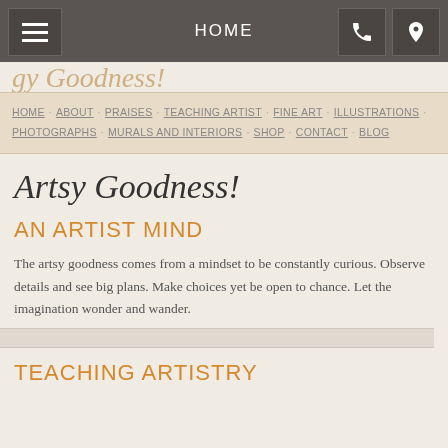HOME
Artsy Goodness!
AN ARTIST MIND
The artsy goodness comes from a mindset to be constantly curious. Observe details and see big plans. Make choices yet be open to chance. Let the imagination wonder and wander.
TEACHING ARTISTRY